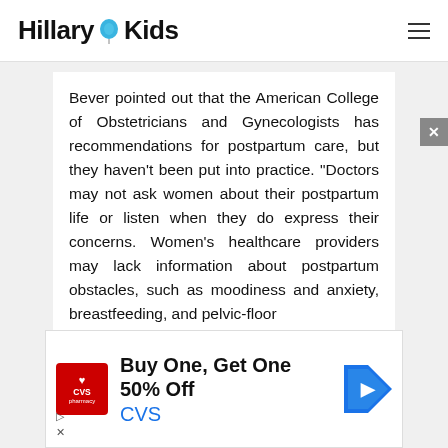Hillary&Kids
Bever pointed out that the American College of Obstetricians and Gynecologists has recommendations for postpartum care, but they haven't been put into practice. "Doctors may not ask women about their postpartum life or listen when they do express their concerns. Women's healthcare providers may lack information about postpartum obstacles, such as moodiness and anxiety, breastfeeding, and pelvic-floor
[Figure (infographic): CVS Pharmacy advertisement: Buy One, Get One 50% Off CVS, with CVS Pharmacy red logo and blue navigation arrow icon]